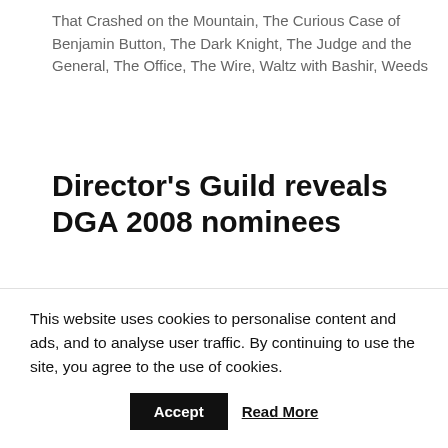That Crashed on the Mountain, The Curious Case of Benjamin Button, The Dark Knight, The Judge and the General, The Office, The Wire, Waltz with Bashir, Weeds
Director's Guild reveals DGA 2008 nominees
January 8, 2009 by admin — Leave a Comment
Directors Guild of America Third Vice President Taylor Hackford today announced the five nominees for the DGA Award for Outstanding Directorial Achievement in Feature Film for 2008. "A film is a collaboration, but it is the director's energy and vision that brings the elements of script, performance and production into a satisfying…
This website uses cookies to personalise content and ads, and to analyse user traffic. By continuing to use the site, you agree to the use of cookies.